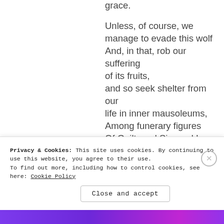grace.

Unless, of course, we manage to evade this wolf And, in that, rob our suffering of its fruits, and so seek shelter from our life in inner mausoleums, Among funerary figures Of Guilt, and Sin, and Long Regrets, And all the unforgiven things,
Privacy & Cookies: This site uses cookies. By continuing to use this website, you agree to their use.
To find out more, including how to control cookies, see here: Cookie Policy
Close and accept